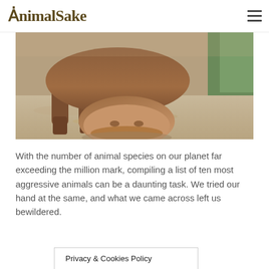AnimalSake
[Figure (photo): Close-up photo of a hippopotamus lowering its large head/snout to the sandy ground near water, with its thick reddish-brown legs visible. Outdoor daylight setting.]
With the number of animal species on our planet far exceeding the million mark, compiling a list of ten most aggressive animals can be a daunting task. We tried our hand at the same, and what we came across left us bewildered.
Privacy & Cookies Policy